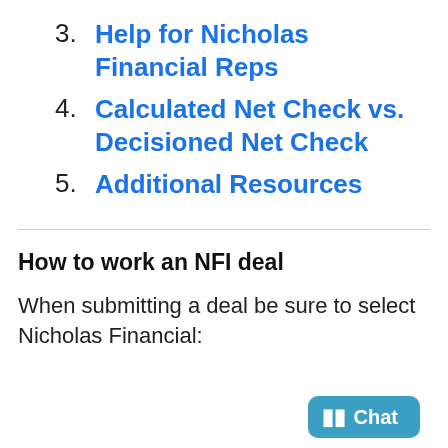3. Help for Nicholas Financial Reps
4. Calculated Net Check vs. Decisioned Net Check
5. Additional Resources
How to work an NFI deal
When submitting a deal be sure to select Nicholas Financial: